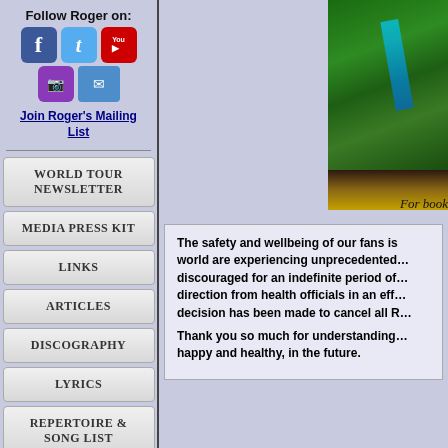Follow Roger on:
[Figure (illustration): Social media icons: Facebook, Twitter, YouTube, Instagram, Email]
Join Roger's Mailing List
WORLD TOUR NEWSLETTER
MEDIA PRESS KIT
LINKS
ARTICLES
DISCOGRAPHY
LYRICS
REPERTOIRE & SONG LIST
[Figure (photo): Concert photo showing green grass/plants and guitar, partially cropped]
For book
The safety and wellbeing of our fans is... world are experiencing unprecedented... discouraged for an indefinite period of... direction from health officials in an eff... decision has been made to cancel all R...
Thank you so much for understanding... happy and healthy, in the future.